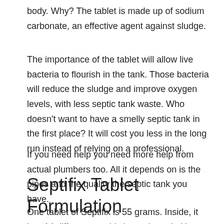body. Why? The tablet is made up of sodium carbonate, an effective agent against sludge.
The importance of the tablet will allow live bacteria to flourish in the tank. Those bacteria will reduce the sludge and improve oxygen levels, with less septic tank waste. Who doesn’t want to have a smelly septic tank in the first place? It will cost you less in the long run instead of relying on a professional.
If you need help you need more help from actual plumbers too. All it depends on is the pipes and the quality the septic tank you have.
Septifix Tablet Formulation
One tablet of Septifix is 55 grams. Inside, it has 14 different aerobic bacteria and pH-regulating elements that help healthy bacteria. It will begin to take effect when it goes inside the tank for